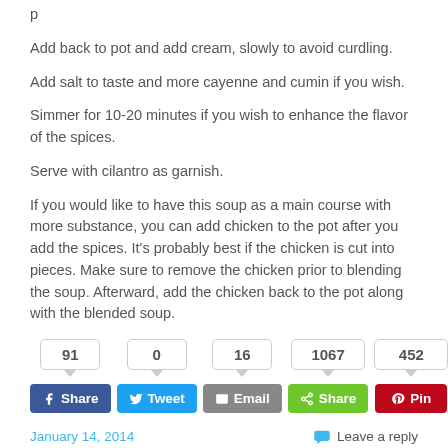p
Add back to pot and add cream, slowly to avoid curdling.
Add salt to taste and more cayenne and cumin if you wish.
Simmer for 10-20 minutes if you wish to enhance the flavor of the spices.
Serve with cilantro as garnish.
If you would like to have this soup as a main course with more substance, you can add chicken to the pot after you add the spices. It's probably best if the chicken is cut into pieces. Make sure to remove the chicken prior to blending the soup. Afterward, add the chicken back to the pot along with the blended soup.
Social share counts: 91, 0, 16, 1067, 452
January 14, 2014
Leave a reply